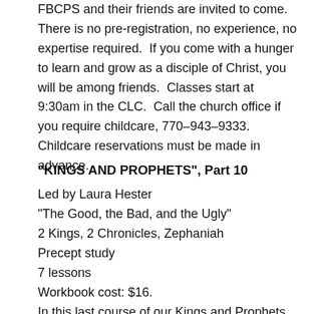FBCPS and their friends are invited to come.  There is no pre-registration, no experience, no expertise required.  If you come with a hunger to learn and grow as a disciple of Christ, you will be among friends.  Classes start at 9:30am in the CLC.  Call the church office if you require childcare, 770-943-9333. Childcare reservations must be made in advance.
"KINGS AND PROPHETS", Part 10
Led by Laura Hester
"The Good, the Bad, and the Ugly"
2 Kings, 2 Chronicles, Zephaniah
Precept study
7 lessons
Workbook cost: $16.
Led by Laura Hester
In this last course of our Kings and Prophets Series, you'll see